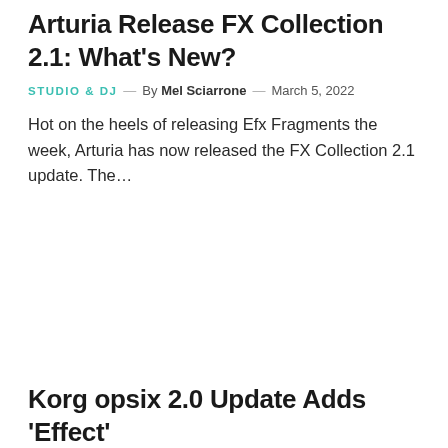Arturia Release FX Collection 2.1: What's New?
STUDIO & DJ — By Mel Sciarrone — March 5, 2022
Hot on the heels of releasing Efx Fragments the week, Arturia has now released the FX Collection 2.1 update. The...
Korg opsix 2.0 Update Adds 'Effect'